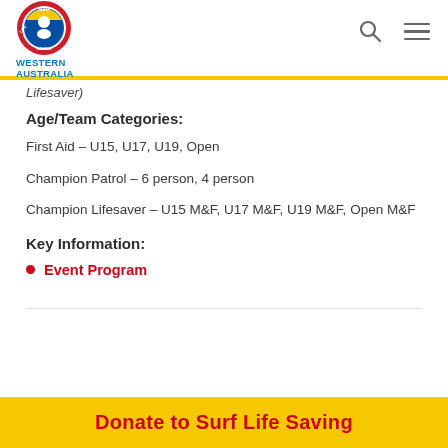Surf Life Saving Western Australia
Lifesaver)
Age/Team Categories:
First Aid – U15, U17, U19, Open
Champion Patrol – 6 person, 4 person
Champion Lifesaver – U15 M&F, U17 M&F, U19 M&F, Open M&F
Key Information:
Event Program
Donate to Surf Life Saving